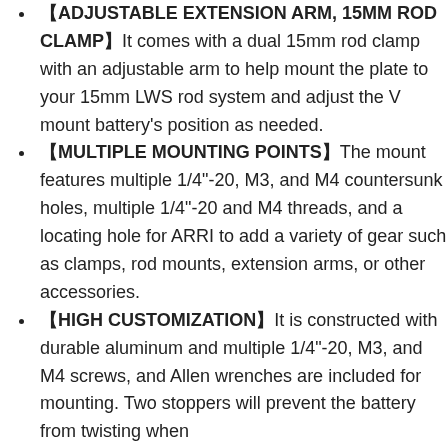【ADJUSTABLE EXTENSION ARM, 15MM ROD CLAMP】It comes with a dual 15mm rod clamp with an adjustable arm to help mount the plate to your 15mm LWS rod system and adjust the V mount battery's position as needed.
【MULTIPLE MOUNTING POINTS】The mount features multiple 1/4"-20, M3, and M4 countersunk holes, multiple 1/4"-20 and M4 threads, and a locating hole for ARRI to add a variety of gear such as clamps, rod mounts, extension arms, or other accessories.
【HIGH CUSTOMIZATION】It is constructed with durable aluminum and multiple 1/4"-20, M3, and M4 screws, and Allen wrenches are included for mounting. Two stoppers will prevent the battery from twisting when